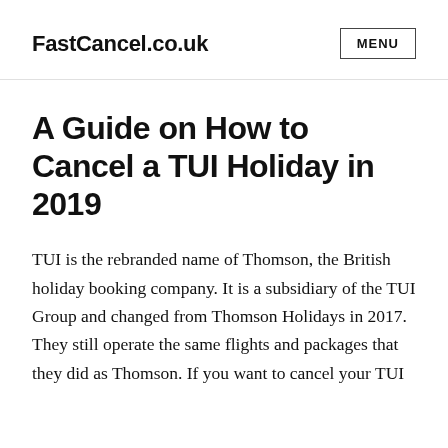FastCancel.co.uk
A Guide on How to Cancel a TUI Holiday in 2019
TUI is the rebranded name of Thomson, the British holiday booking company. It is a subsidiary of the TUI Group and changed from Thomson Holidays in 2017. They still operate the same flights and packages that they did as Thomson. If you want to cancel your TUI